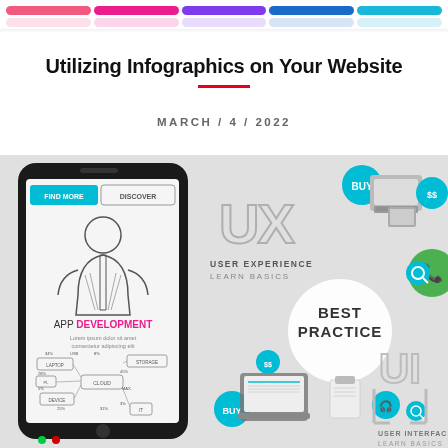Utilizing Infographics on Your Website
MARCH / 4 / 2022
[Figure (infographic): Composite infographic image showing: a smartphone mockup with 'APP DEVELOPMENT' and 'FIND MORE / DISCOVER' UI, Lorem ipsum text, and a mind-map diagram of cloud/laptop/device connections; a 'UX USER EXPERIENCE LEARN BASICS' graphic with large UX letters; a 'BEST PRACTICE' circular badge; e-commerce teal icons with computer/phone/headset imagery and BUY badges; a 'UI USER INTERFACE LEARN BASICS' graphic; and a phone icon on a green circle.]